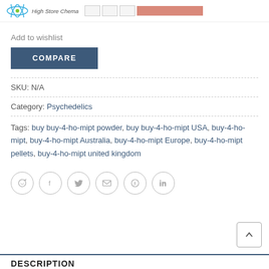High Store Chema
Add to wishlist
COMPARE
SKU: N/A
Category: Psychedelics
Tags: buy buy-4-ho-mipt powder, buy buy-4-ho-mipt USA, buy-4-ho-mipt, buy-4-ho-mipt Australia, buy-4-ho-mipt Europe, buy-4-ho-mipt pellets, buy-4-ho-mipt united kingdom
[Figure (other): Social share icons: WhatsApp, Facebook, Twitter, Email, Pinterest, LinkedIn]
DESCRIPTION